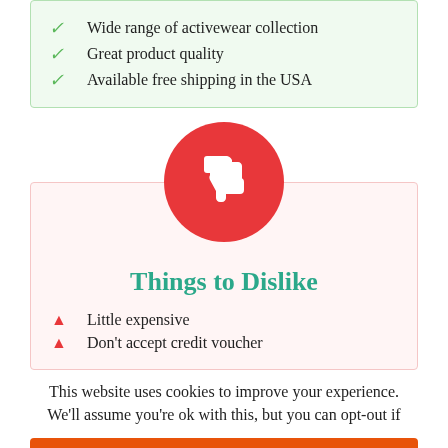Wide range of activewear collection
Great product quality
Available free shipping in the USA
[Figure (illustration): Red circle with white thumbs-down icon]
Things to Dislike
Little expensive
Don't accept credit voucher
This website uses cookies to improve your experience. We'll assume you're ok with this, but you can opt-out if
[Figure (infographic): Orange ad banner: Help send medical aid to Ukraine >> DirectRelief logo]